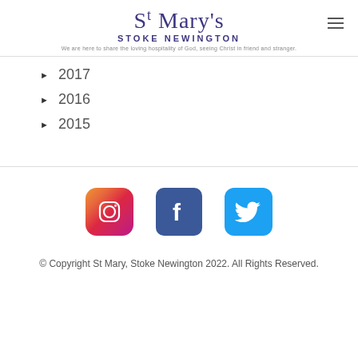St Mary's STOKE NEWINGTON — We are here to share the loving hospitality of God, seeing Christ in friend and stranger.
2017
2016
2015
[Figure (logo): Instagram logo icon — gradient rounded square with camera outline]
[Figure (logo): Facebook logo icon — blue rounded square with white f]
[Figure (logo): Twitter logo icon — light blue rounded square with white bird]
© Copyright St Mary, Stoke Newington 2022. All Rights Reserved.